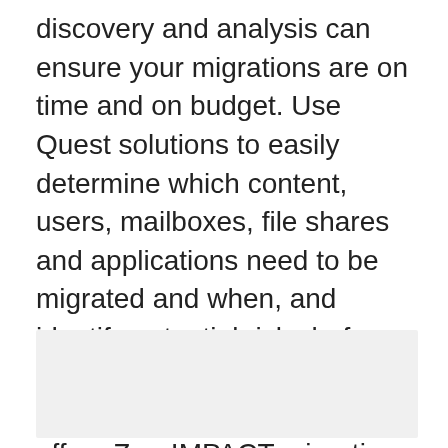discovery and analysis can ensure your migrations are on time and on budget. Use Quest solutions to easily determine which content, users, mailboxes, file shares and applications need to be migrated and when, and identify potential risks before your move to prevent errors or delays downstream. Quest offers ZeroIMPACT migration planning and consolidation solutions to address almost any Office 365 migration scenario. Simply and securely consolidate and migrate O365 tenants for Azure AD, Exchange, OneDrive, SharePoint, and Teams with a SaaS-based migration solution.
[Figure (other): Gray rectangular placeholder box]